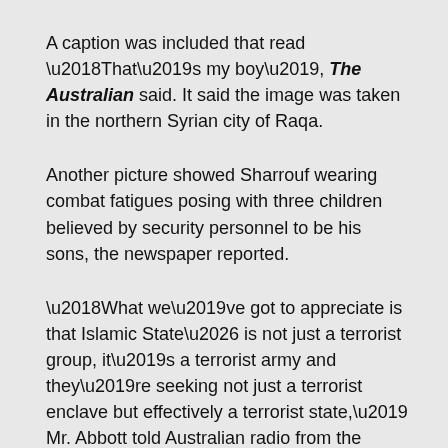A caption was included that read ‘That’s my boy’, The Australian said. It said the image was taken in the northern Syrian city of Raqa.
Another picture showed Sharrouf wearing combat fatigues posing with three children believed by security personnel to be his sons, the newspaper reported.
‘What we’ve got to appreciate is that Islamic State… is not just a terrorist group, it’s a terrorist army and they’re seeking not just a terrorist enclave but effectively a terrorist state,’ Mr. Abbott told Australian radio from the Netherlands, where he is discussing issues related to flight MH17, the passenger plane brought down in Ukraine.
‘And this does pose extraordinary problems… not just for the people of the Middle East but for the wider world…” (America is being warned repeatedly that this new group of Islamic murderers is making preparations for a major invasion of